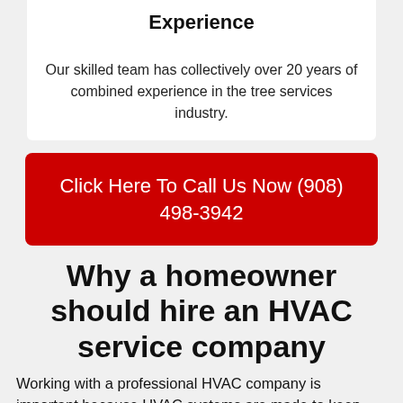Experience
Our skilled team has collectively over 20 years of combined experience in the tree services industry.
Click Here To Call Us Now (908) 498-3942
Why a homeowner should hire an HVAC service company
Working with a professional HVAC company is important because HVAC systems are made to keep homes cool in the